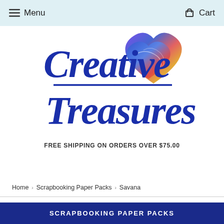Menu   Cart
[Figure (logo): Creative Treasures logo with cursive blue text and colorful double-heart graphic]
FREE SHIPPING ON ORDERS OVER $75.00
Home > Scrapbooking Paper Packs > Savana